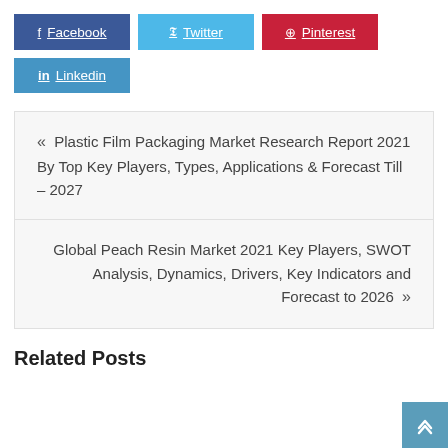f Facebook
Twitter
Pinterest
in Linkedin
« Plastic Film Packaging Market Research Report 2021 By Top Key Players, Types, Applications & Forecast Till – 2027
Global Peach Resin Market 2021 Key Players, SWOT Analysis, Dynamics, Drivers, Key Indicators and Forecast to 2026 »
Related Posts